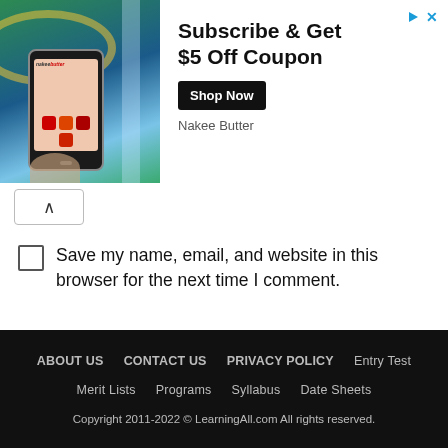[Figure (other): Advertisement banner for Nakee Butter: Subscribe & Get $5 Off Coupon with Shop Now button and product image showing a phone with app interface]
Save my name, email, and website in this browser for the next time I comment.
POST COMMENT
ABOUT US   CONTACT US   PRIVACY POLICY   Entry Test   Merit Lists   Programs   Syllabus   Date Sheets   Copyright 2011-2022 © LearningAll.com All rights reserved.